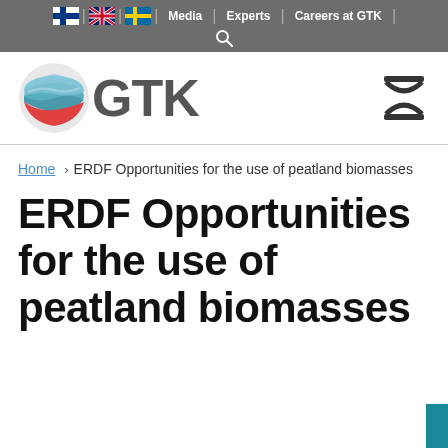Finnish flag | UK flag | Swedish flag | Media | Experts | Careers at GTK | Search
[Figure (logo): GTK (Geological Survey of Finland) logo with circular layered graphic and GTK text, plus a small social icon on the right]
Home › ERDF Opportunities for the use of peatland biomasses
ERDF Opportunities for the use of peatland biomasses